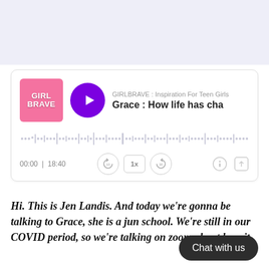[Figure (screenshot): Top lavender/light purple banner area, partially visible, appears to be part of a website header]
[Figure (screenshot): Podcast player card for GIRLBRAVE: Inspiration For Teen Girls episode 'Grace: How life has cha...' with thumbnail, purple play button, waveform, time display 00:00 | 18:40, and playback controls]
Hi. This is Jen Landis. And today we're gonna be talking to Grace, she is a jun school. We're still in our COVID period, so we're talking on zoom about how it
[Figure (screenshot): Dark rounded chat bubble overlay reading 'Chat with us']